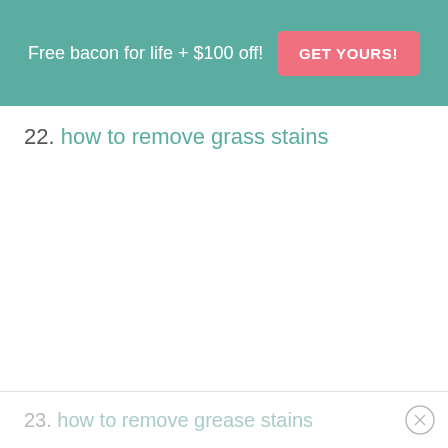[Figure (infographic): Teal/green banner advertisement with text 'Free bacon for life + $100 off!' and a pink/salmon colored button labeled 'GET YOURS!']
22. how to remove grass stains
23. how to remove grease stains